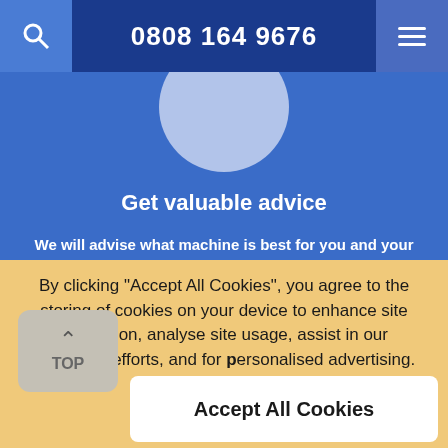0808 164 9676
Get valuable advice
We will advise what machine is best for you and your situation taking into account the size and
By clicking "Accept All Cookies", you agree to the storing of cookies on your device to enhance site navigation, analyse site usage, assist in our marketing efforts, and for personalised advertising.
More Information
Accept All Cookies